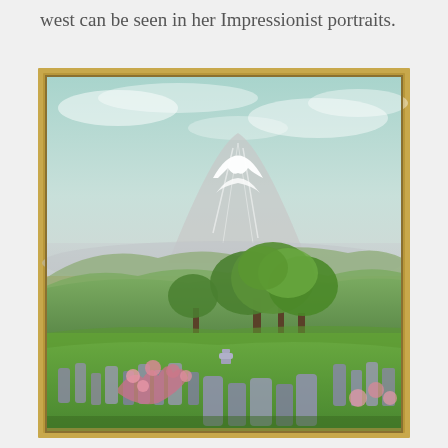west can be seen in her Impressionist portraits.
[Figure (illustration): An impressionist oil painting showing Mount Fuji in the background with a misty, light-blue sky. In the middle ground are green rolling hills and trees with leafy canopy. In the foreground is a Japanese cemetery with stone grave markers and pink flowering plants. The painting has a gold/gilt frame border.]